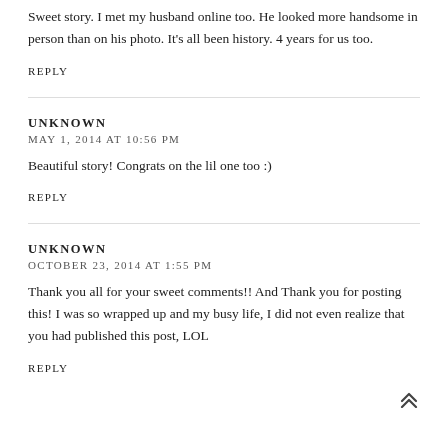Sweet story. I met my husband online too. He looked more handsome in person than on his photo. It's all been history. 4 years for us too.
REPLY
UNKNOWN
MAY 1, 2014 AT 10:56 PM
Beautiful story! Congrats on the lil one too :)
REPLY
UNKNOWN
OCTOBER 23, 2014 AT 1:55 PM
Thank you all for your sweet comments!! And Thank you for posting this! I was so wrapped up and my busy life, I did not even realize that you had published this post, LOL
REPLY